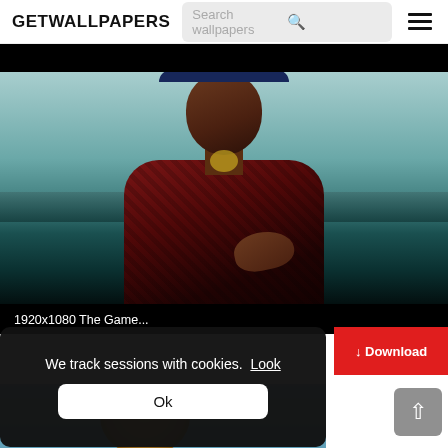GETWALLPAPERS
[Figure (screenshot): Screenshot of GETWALLPAPERS website showing a wallpaper of a rapper (The Game) wearing a blue snapback cap and plaid shirt, with ocean background. Image is labeled '1920x1080 The Game...'. Below is a cookie consent popup saying 'We track sessions with cookies. Look' with an 'Ok' button, a red Download button, and a back-to-top arrow button.]
1920x1080 The Game...
We track sessions with cookies.  Look
Ok
↓ Download